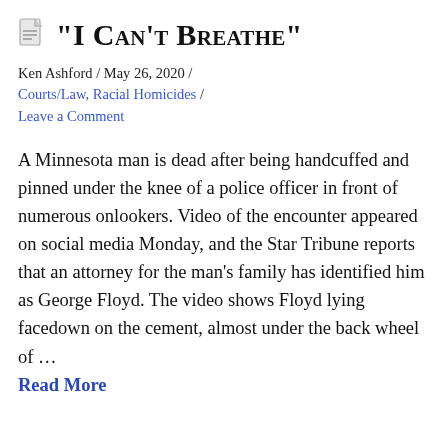“I Can’t Breathe”
Ken Ashford  /  May 26, 2020  /  Courts/Law, Racial Homicides  /  Leave a Comment
A Minnesota man is dead after being handcuffed and pinned under the knee of a police officer in front of numerous onlookers. Video of the encounter appeared on social media Monday, and the Star Tribune reports that an attorney for the man’s family has identified him as George Floyd. The video shows Floyd lying facedown on the cement, almost under the back wheel of … Read More